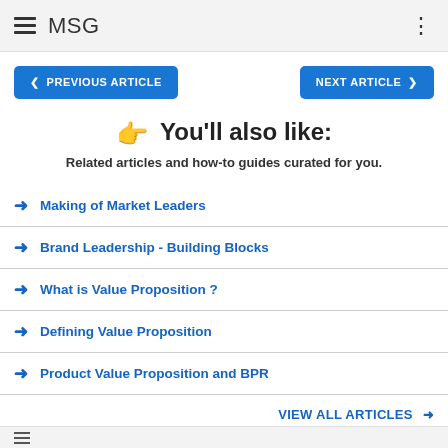MSG
PREVIOUS ARTICLE   NEXT ARTICLE
You'll also like:
Related articles and how-to guides curated for you.
Making of Market Leaders
Brand Leadership - Building Blocks
What is Value Proposition ?
Defining Value Proposition
Product Value Proposition and BPR
VIEW ALL ARTICLES →